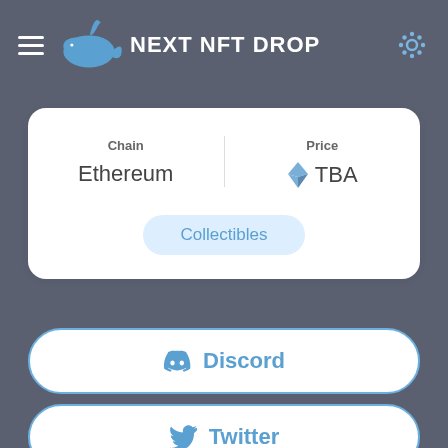NEXT NFT DROP
| Chain | Price |
| --- | --- |
| Ethereum | TBA |
Collectibles
Discord
Twitter